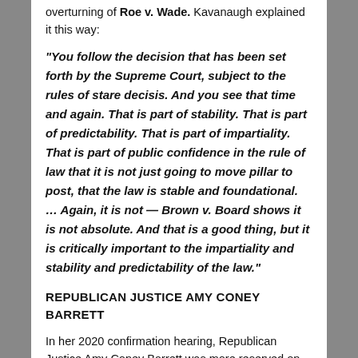overturning of Roe v. Wade. Kavanaugh explained it this way:
“You follow the decision that has been set forth by the Supreme Court, subject to the rules of stare decisis. And you see that time and again. That is part of stability. That is part of predictability. That is part of impartiality. That is part of public confidence in the rule of law that it is not just going to move pillar to post, that the law is stable and foundational. … Again, it is not — Brown v. Board shows it is not absolute. And that is a good thing, but it is critically important to the impartiality and stability and predictability of the law.”
REPUBLICAN JUSTICE AMY CONEY BARRETT
In her 2020 confirmation hearing, Republican Justice Amy Coney Barrett was more reserved on the Roe v. Wade precedent during her confirmation hearings. During her confirmation process, reports surfaced that Barrett had once openly advocated for overturning Roe v. Wade in a